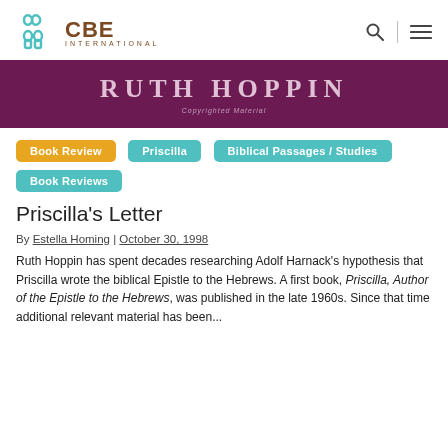CBE INTERNATIONAL
[Figure (logo): CBE International logo with teal figures and brown CBE INTERNATIONAL text]
[Figure (other): Purple banner with large serif text RUTH HOPPIN and small text Copyrighted Material]
Book Review
Priscilla
Biblical Passages / Studies
Book Reviews
Priscilla's Letter
By Estella Homing | October 30, 1998
Ruth Hoppin has spent decades researching Adolf Harnack's hypothesis that Priscilla wrote the biblical Epistle to the Hebrews. A first book, Priscilla, Author of the Epistle to the Hebrews, was published in the late 1960s. Since that time additional relevant material has been...